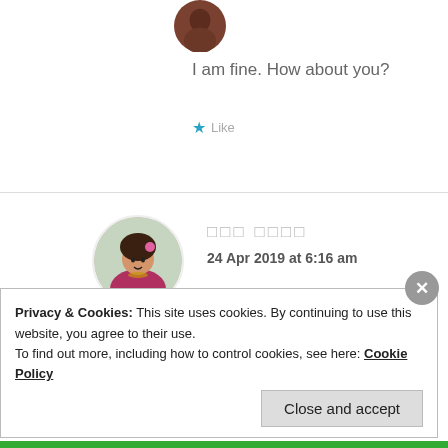[Figure (photo): Circular avatar photo of a person, partially cropped at top]
I am fine. How about you?
★ Like
[Figure (photo): Circular avatar photo of a woman in traditional Indian attire with flower in hair]
□□□ □□□□
24 Apr 2019 at 6:16 am
i good. so whats going on ?
Privacy & Cookies: This site uses cookies. By continuing to use this website, you agree to their use.
To find out more, including how to control cookies, see here: Cookie Policy
Close and accept